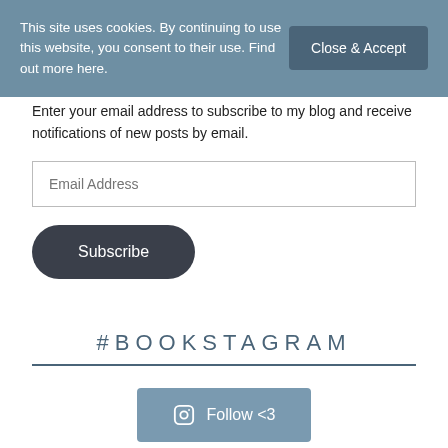This site uses cookies. By continuing to use this website, you consent to their use. Find out more here.
Close & Accept
Enter your email address to subscribe to my blog and receive notifications of new posts by email.
Email Address
Subscribe
#BOOKSTAGRAM
Follow <3